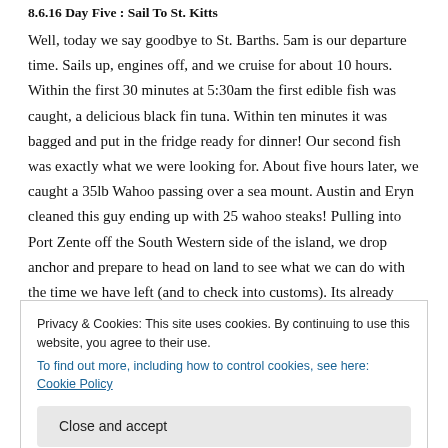8.6.16 Day Five : Sail To St. Kitts
Well, today we say goodbye to St. Barths. 5am is our departure time. Sails up, engines off, and we cruise for about 10 hours. Within the first 30 minutes at 5:30am the first edible fish was caught, a delicious black fin tuna. Within ten minutes it was bagged and put in the fridge ready for dinner! Our second fish was exactly what we were looking for. About five hours later, we caught a 35lb Wahoo passing over a sea mount. Austin and Eryn cleaned this guy ending up with 25 wahoo steaks! Pulling into Port Zente off the South Western side of the island, we drop anchor and prepare to head on land to see what we can do with the time we have left (and to check into customs). Its already 3pm, and we plan to be underway to
Privacy & Cookies: This site uses cookies. By continuing to use this website, you agree to their use.
To find out more, including how to control cookies, see here: Cookie Policy
downers. What was going to be a chill evening ended up with us at